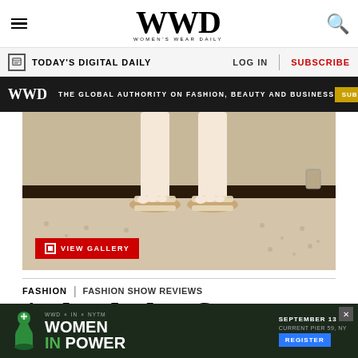WWD | WOMEN'S WEAR DAILY
TODAY'S DIGITAL DAILY | LOG IN | SUBSCRIBE
WWD | THE GLOBAL AUTHORITY ON FASHION, BEAUTY AND BUSINESS | SUBSCRIBE NOW
[Figure (photo): Close-up of a model's legs wearing white/beige sandals standing on a textured rug, with a VIEW GALLERY button overlay]
FASHION | FASHION SHOW REVIEWS
Au Jour Le Jour Garçon Men's RTW Fall 2016
[Figure (infographic): Bottom advertisement for Women in Power event by WWD x IN x NYTM, September 13, Current Pier 59 NY, with Register button]